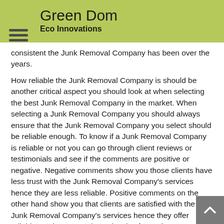Green Dom
Eco Innovations
consistent the Junk Removal Company has been over the years.
How reliable the Junk Removal Company is should be another critical aspect you should look at when selecting the best Junk Removal Company in the market. When selecting a Junk Removal Company you should always ensure that the Junk Removal Company you select should be reliable enough. To know if a Junk Removal Company is reliable or not you can go through client reviews or testimonials and see if the comments are positive or negative. Negative comments show you those clients have less trust with the Junk Removal Company's services hence they are less reliable. Positive comments on the other hand show you that clients are satisfied with the Junk Removal Company's services hence they offer reliable services. Experience levels of a Junk Removal Company can also help you select a Junk Removal Company that offers reliable services to their clients. An experienced Junk Removal Company understands the urgency to deliver quality services to clients. Such Junk Removal Companies usually have